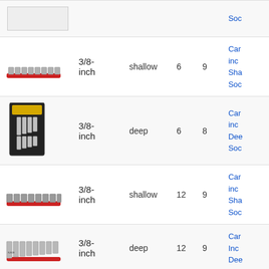| Image | Size | Depth | Points | Pieces | Link |
| --- | --- | --- | --- | --- | --- |
| [socket set image] | 3/8-inch | shallow | 6 | 9 | Car... inc... Sha... Soc... |
| [socket set image] | 3/8-inch | deep | 6 | 8 | Car... inc... Dee... Soc... |
| [socket set image] | 3/8-inch | shallow | 12 | 9 | Car... inc... Sha... Soc... |
| [socket set image] | 3/8-inch | deep | 12 | 9 | Car... Inc... Dee... |